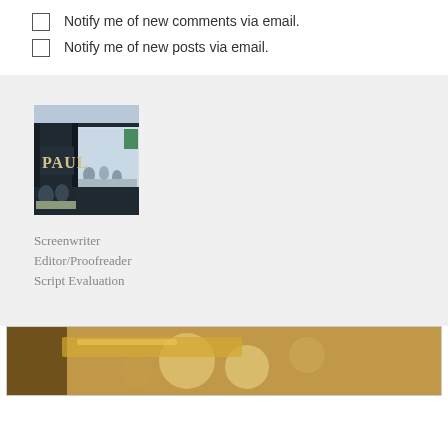Notify me of new comments via email.
Notify me of new posts via email.
[Figure (photo): Photo of PAUL bakery storefront with patrons visible inside]
Screenwriter
Editor/Proofreader
Script Evaluation
[Figure (photo): Partial photo at bottom, warm gold/brown tones, close-up object]